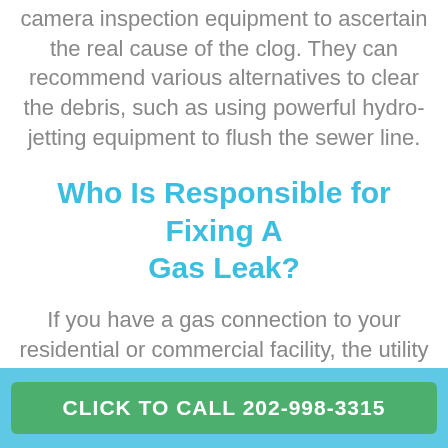camera inspection equipment to ascertain the real cause of the clog. They can recommend various alternatives to clear the debris, such as using powerful hydro-jetting equipment to flush the sewer line.
Who Is Responsible for Fixing A Gas Leak?
If you have a gas connection to your residential or commercial facility, the utility company may have provided an emergency
CLICK TO CALL 202-998-3315